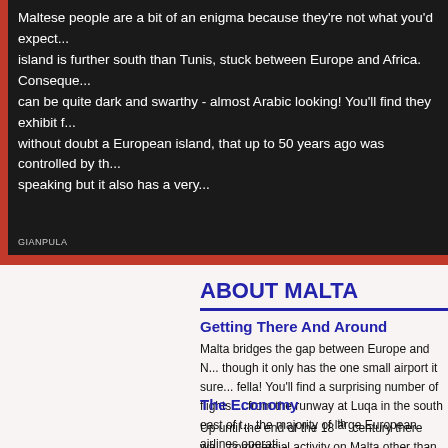[Figure (photo): Dark background photo of Maltese people with white text overlay describing Maltese people and culture, with a 'GIANPULA' label in the bottom left.]
ABOUT MALTA
Getting There And Around
Malta bridges the gap between Europe and N... though it only has the one small airport it sure... fella! You'll find a surprising number of flights ... from the runway at Luqa in the south east of t... the majority of large European airlines operati...
The Economy
Up until the end of the 18 th  century there wa... commercial activity on Malta other than agricu... fishing. The island produced some cotton and...